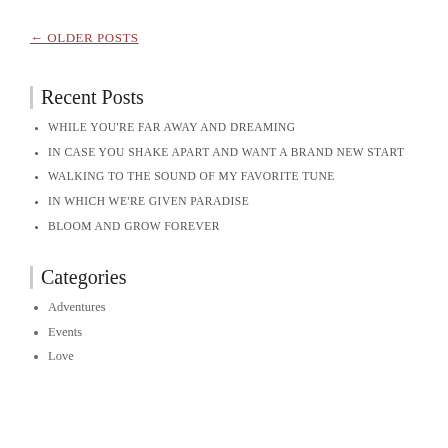← OLDER POSTS
Recent Posts
WHILE YOU'RE FAR AWAY AND DREAMING
IN CASE YOU SHAKE APART AND WANT A BRAND NEW START
WALKING TO THE SOUND OF MY FAVORITE TUNE
IN WHICH WE'RE GIVEN PARADISE
BLOOM AND GROW FOREVER
Categories
Adventures
Events
Love